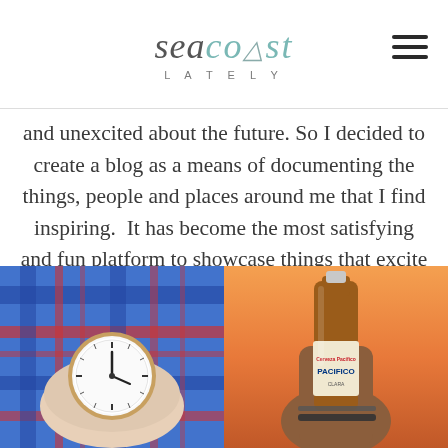Seacoast Lately
and unexcited about the future. So I decided to create a blog as a means of documenting the things, people and places around me that I find inspiring.  It has become the most satisfying and fun platform to showcase things that excite me and I have learned more than I ever thought possible (corny but true).
Can you describe your blog in one sentence?
A thoughtful collection of what inspires me in interior design, fashion, art and food.
[Figure (photo): Close-up photo of a wrist wearing a minimalist watch with white face and brown leather strap, resting on a blue plaid fabric background]
[Figure (photo): Photo of a hand holding a brown glass beer bottle (Pacifico brand) with a sunset/dusk background, wearing beaded bracelets]